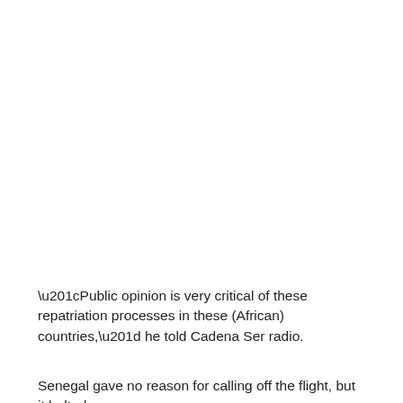“Public opinion is very critical of these repatriation processes in these (African) countries,” he told Cadena Ser radio.
Senegal gave no reason for calling off the flight, but it halted